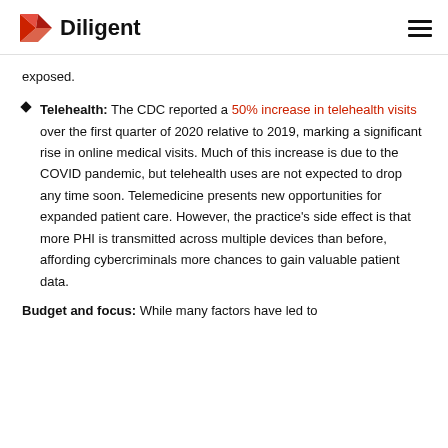Diligent
exposed.
Telehealth: The CDC reported a 50% increase in telehealth visits over the first quarter of 2020 relative to 2019, marking a significant rise in online medical visits. Much of this increase is due to the COVID pandemic, but telehealth uses are not expected to drop any time soon. Telemedicine presents new opportunities for expanded patient care. However, the practice's side effect is that more PHI is transmitted across multiple devices than before, affording cybercriminals more chances to gain valuable patient data.
Budget and focus: While many factors have led to